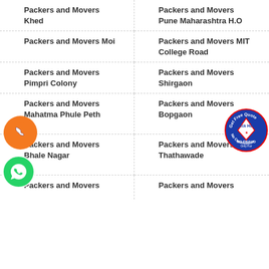Packers and Movers Khed
Packers and Movers Pune Maharashtra H.O
Packers and Movers Moi
Packers and Movers MIT College Road
Packers and Movers Pimpri Colony
Packers and Movers Shirgaon
Packers and Movers Mahatma Phule Peth
Packers and Movers Bopgaon
Packers and Movers Bhale Nagar
Packers and Movers Thathawade
Packers and Movers
Packers and Movers
[Figure (infographic): Orange circular phone call badge]
[Figure (infographic): Green WhatsApp logo badge]
[Figure (infographic): Blue circular Get Free Quote badge with Click Here and No Commission No Fraud text]